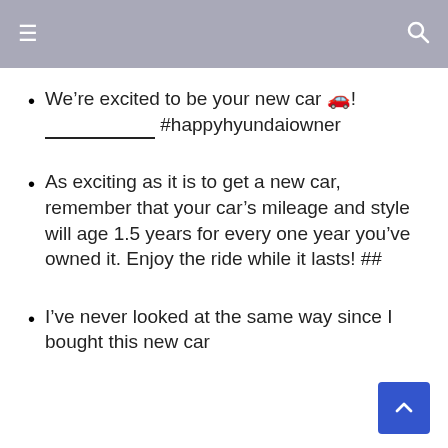≡  🔍
We’re excited to be your new car 🚗! ____________ #happyhyundaiowner
As exciting as it is to get a new car, remember that your car’s mileage and style will age 1.5 years for every one year you’ve owned it. Enjoy the ride while it lasts! ##
I’ve never looked at the same way since I bought this new car